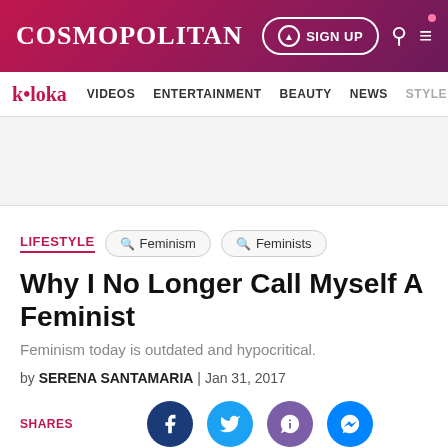COSMOPOLITAN
k•loka  VIDEOS  ENTERTAINMENT  BEAUTY  NEWS  STYLE
LIFESTYLE  Feminism  Feminists
Why I No Longer Call Myself A Feminist
Feminism today is outdated and hypocritical.
by SERENA SANTAMARIA | Jan 31, 2017
SHARES